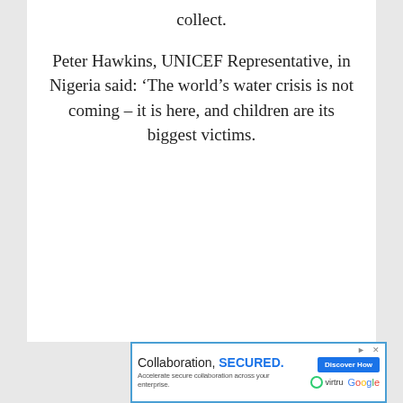collect.

Peter Hawkins, UNICEF Representative, in Nigeria said: ‘The world’s water crisis is not coming – it is here, and children are its biggest victims.
[Figure (other): Advertisement banner for Virtru and Google collaboration product. Text reads: 'Collaboration, SECURED. Accelerate secure collaboration across your enterprise.' with a 'Discover How' button and Virtru and Google logos.]